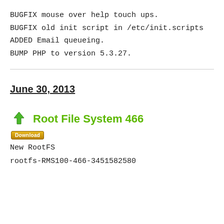BUGFIX mouse over help touch ups.
BUGFIX old init script in /etc/init.scripts
ADDED Email queueing.
BUMP PHP to version 5.3.27.
June 30, 2013
Root File System 466
New RootFS
rootfs-RMS100-466-3451582580